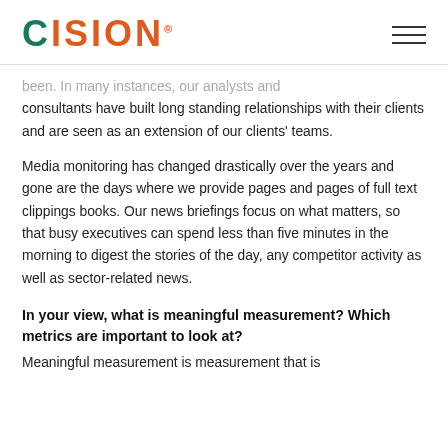CISION
…been. In many instances, our analysts and consultants have built long standing relationships with their clients and are seen as an extension of our clients' teams.
Media monitoring has changed drastically over the years and gone are the days where we provide pages and pages of full text clippings books. Our news briefings focus on what matters, so that busy executives can spend less than five minutes in the morning to digest the stories of the day, any competitor activity as well as sector-related news.
In your view, what is meaningful measurement? Which metrics are important to look at?
Meaningful measurement is measurement that is